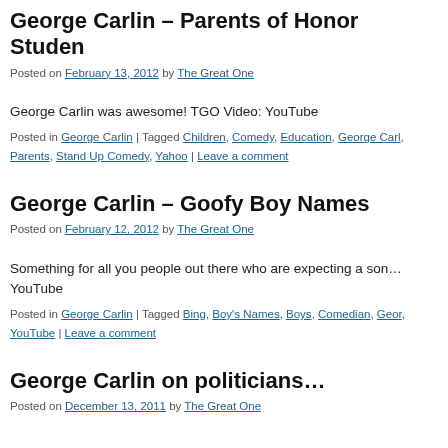George Carlin – Parents of Honor Studen
Posted on February 13, 2012 by The Great One
George Carlin was awesome! TGO Video: YouTube
Posted in George Carlin | Tagged Children, Comedy, Education, George Carl, Parents, Stand Up Comedy, Yahoo | Leave a comment
George Carlin – Goofy Boy Names
Posted on February 12, 2012 by The Great One
Something for all you people out there who are expecting a son… YouTube
Posted in George Carlin | Tagged Bing, Boy's Names, Boys, Comedian, Geor, YouTube | Leave a comment
George Carlin on politicians…
Posted on December 13, 2011 by The Great One